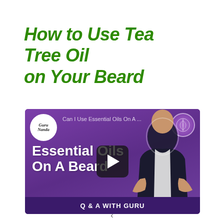How to Use Tea Tree Oil on Your Beard
[Figure (screenshot): Video thumbnail showing a man in a dark blazer against a purple background. Text reads 'Essential Oils On A Beard' with a play button in center. GuruNanda logo in top left. Top bar shows 'Can I Use Essential Oils On A ...' Bottom banner reads 'Q & A WITH GURU']